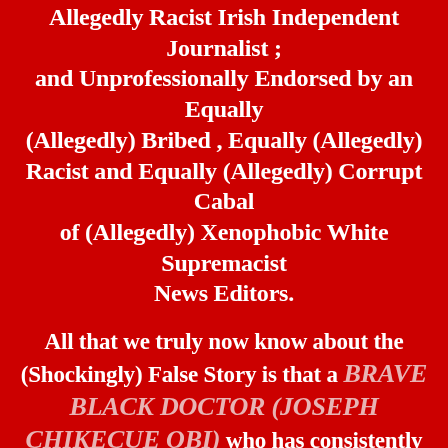Allegedly Racist Irish Independent Journalist ; and Unprofessionally Endorsed by an Equally (Allegedly) Bribed , Equally (Allegedly) Racist and Equally (Allegedly) Corrupt Cabal of (Allegedly) Xenophobic White Supremacist News Editors.
All that we truly now know about the (Shockingly) False Story is that a BRAVE BLACK DOCTOR (JOSEPH CHIKECUE OBI) who has consistently helped those who have been unfairly suspended by